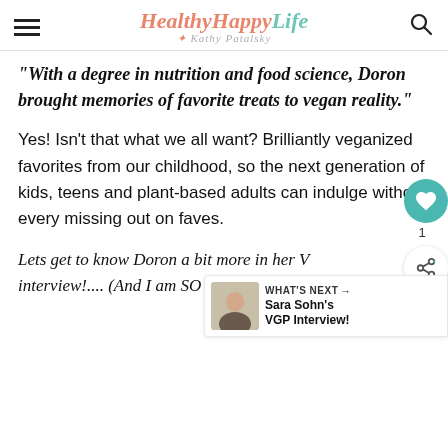Healthy Happy Life — Kathy Patalsky
"With a degree in nutrition and food science, Doron brought memories of favorite treats to vegan reality."
Yes! Isn't that what we all want? Brilliantly veganized favorites from our childhood, so the next generation of kids, teens and plant-based adults can indulge without every missing out on faves.
Lets get to know Doron a bit more in her VGP interview!.... (And I am SO excited that Doron says